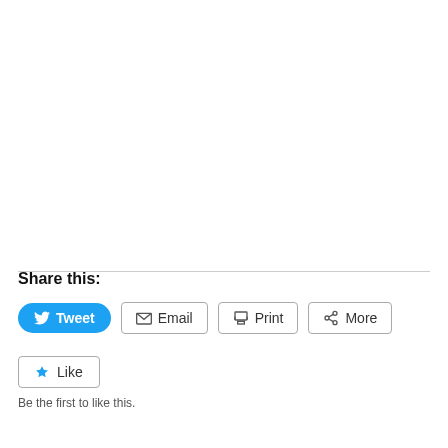Share this:
Tweet
Email
Print
More
Like
Be the first to like this.